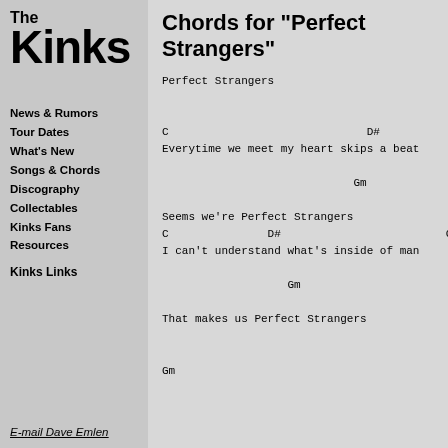[Figure (logo): The Kinks logo in bold black stylized font]
News & Rumors
Tour Dates
What's New
Songs & Chords
Discography
Collectables
Kinks Fans
Resources
Kinks Links
E-mail Dave Emlen
Chords for "Perfect Strangers"
Perfect Strangers


C                              D#              C
Everytime we meet my heart skips a beat

                             Gm

Seems we're Perfect Strangers
C               D#                         C
I can't understand what's inside of man

                   Gm

That makes us Perfect Strangers


Gm